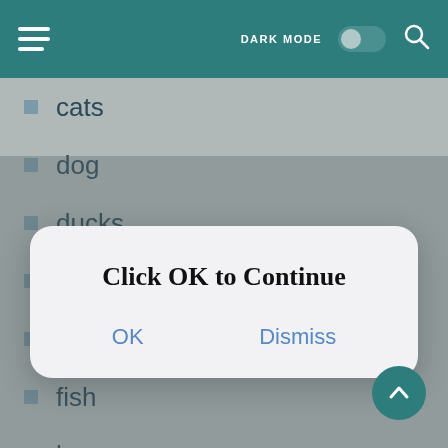DARK MODE [toggle] [search]
cats
dog
ducks
eagle
Expedisi J&T
fish
horse
lion
pet
rabbit
SiCepat
[Figure (screenshot): Modal dialog with title 'Click OK to Continue' and two buttons: OK and Dismiss]